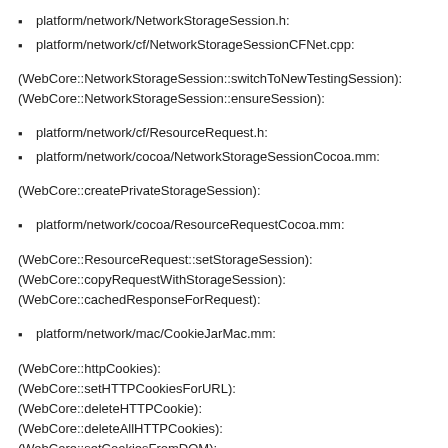platform/network/NetworkStorageSession.h:
platform/network/cf/NetworkStorageSessionCFNet.cpp:
(WebCore::NetworkStorageSession::switchToNewTestingSession):
(WebCore::NetworkStorageSession::ensureSession):
platform/network/cf/ResourceRequest.h:
platform/network/cocoa/NetworkStorageSessionCocoa.mm:
(WebCore::createPrivateStorageSession):
platform/network/cocoa/ResourceRequestCocoa.mm:
(WebCore::ResourceRequest::setStorageSession):
(WebCore::copyRequestWithStorageSession):
(WebCore::cachedResponseForRequest):
platform/network/mac/CookieJarMac.mm:
(WebCore::httpCookies):
(WebCore::setHTTPCookiesForURL):
(WebCore::deleteHTTPCookie):
(WebCore::deleteAllHTTPCookies):
(WebCore::setCookiesFromDOM):
(WebCore::httpCookieAcceptPolicy):
(WebCore::cookiesEnabled):
(WebCore::deleteCookie):
(WebCore::getHostnamesWithCookies):
(WebCore::deleteAllCookies):